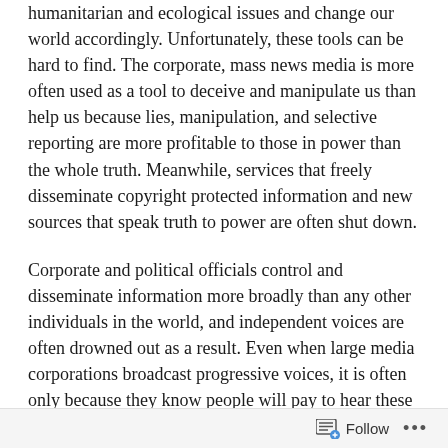humanitarian and ecological issues and change our world accordingly. Unfortunately, these tools can be hard to find. The corporate, mass news media is more often used as a tool to deceive and manipulate us than help us because lies, manipulation, and selective reporting are more profitable to those in power than the whole truth. Meanwhile, services that freely disseminate copyright protected information and new sources that speak truth to power are often shut down.
Corporate and political officials control and disseminate information more broadly than any other individuals in the world, and independent voices are often drowned out as a result. Even when large media corporations broadcast progressive voices, it is often only because they know people will pay to hear these voices but they do not want these voices to actually change the zeitgeist. They want individuals to tune in, feel good about themselves for listening to what's going on in the world, and then forget about it five minutes later, distracted by some advertisement for
Follow ···